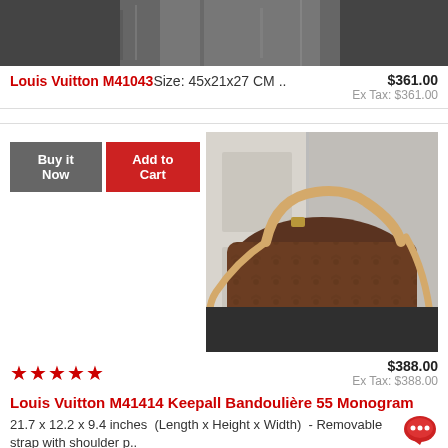[Figure (photo): Top portion of a product image showing black plastic wrapping, partially cropped]
Louis Vuitton M41043  Size: 45x21x27 CM ..   $361.00  Ex Tax: $361.00
[Figure (photo): Louis Vuitton Keepall Bandoulière 55 Monogram bag in brown monogram canvas with tan leather strap and handles, displayed on black surface]
Buy it Now   Add to Cart
$388.00  Ex Tax: $388.00
Louis Vuitton M41414 Keepall Bandoulière 55 Monogram
21.7 x 12.2 x 9.4 inches  (Length x Height x Width)  - Removable strap with shoulder p..
[Figure (photo): Bottom portion of another product image, partially cropped]